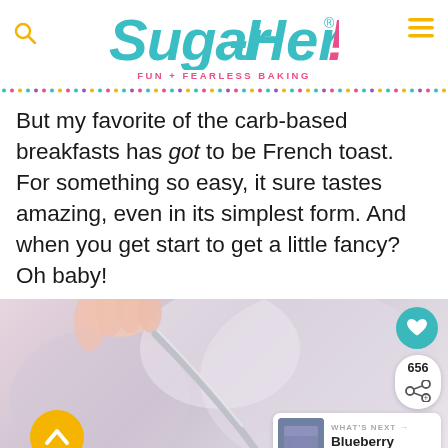SugarHero! Fun + Fearless Baking
But my favorite of the carb-based breakfasts has got to be French toast. For something so easy, it sure tastes amazing, even in its simplest form. And when you get start to get a little fancy? Oh baby!
[Figure (photo): Close-up photo of a spoon with blurred background, with UI overlays: heart save button, share count of 656, scroll-up button, and a 'What's Next → Blueberry Layer Cake' card]